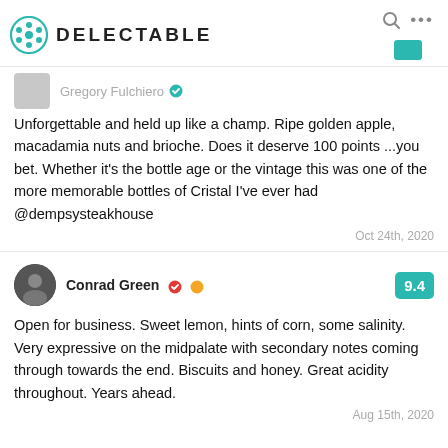DELECTABLE
Gregory Fulchiero
Unforgettable and held up like a champ. Ripe golden apple, macadamia nuts and brioche. Does it deserve 100 points ...you bet. Whether it's the bottle age or the vintage this was one of the more memorable bottles of Cristal I've ever had @dempsysteakhouse
Oct 24th, 2020
Conrad Green
9.4
Open for business. Sweet lemon, hints of corn, some salinity. Very expressive on the midpalate with secondary notes coming through towards the end. Biscuits and honey. Great acidity throughout. Years ahead.
Aug 15th, 2020